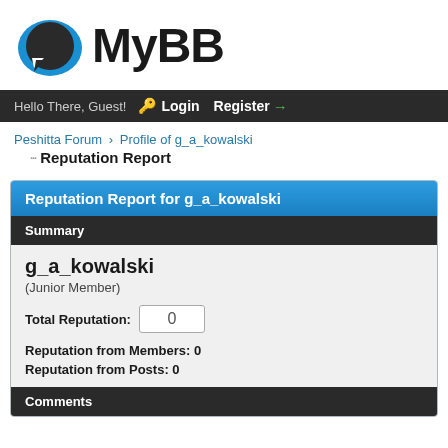[Figure (logo): MyBB logo with blue speech bubble icon and bold MyBB text]
Hello There, Guest! Login Register
Peshitta Forum › Profile of g_a_kowalski
Reputation Report
Reputation Report for g_a_kowalski
Summary
g_a_kowalski
(Junior Member)
Total Reputation: 0
Reputation from Members: 0
Reputation from Posts: 0
Comments